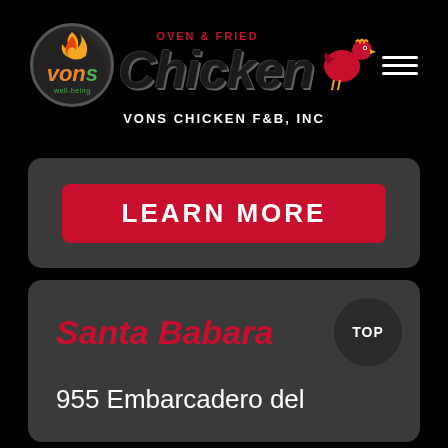[Figure (logo): Vons Chicken Oven & Fried logo with flame, chicken icon, hamburger menu lines, and text 'VONS CHICKEN F&B, INC']
LEARN MORE
Santa Babara
TOP
955 Embarcadero del